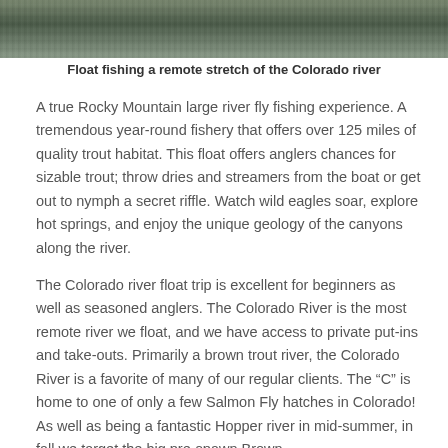[Figure (photo): Photo of a remote stretch of the Colorado river, showing water surface with ripples and greenery in the background]
Float fishing a remote stretch of the Colorado river
A true Rocky Mountain large river fly fishing experience. A tremendous year-round fishery that offers over 125 miles of quality trout habitat. This float offers anglers chances for sizable trout; throw dries and streamers from the boat or get out to nymph a secret riffle. Watch wild eagles soar, explore hot springs, and enjoy the unique geology of the canyons along the river.
The Colorado river float trip is excellent for beginners as well as seasoned anglers. The Colorado River is the most remote river we float, and we have access to private put-ins and take-outs. Primarily a brown trout river, the Colorado River is a favorite of many of our regular clients. The “C” is home to one of only a few Salmon Fly hatches in Colorado! As well as being a fantastic Hopper river in mid-summer, in fall we target the big pre-spawn Brown